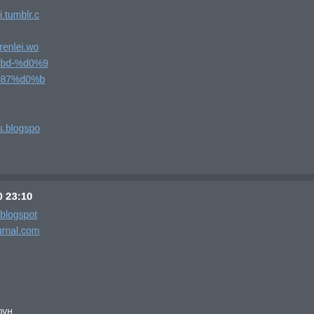[url=https://tarrdirtwormni.tumblr.c…
[/url]
[url=https://podlesnyiakarenlei.wo…%d1%80%d1%83%d0%bd-%d0%9…%d1%81%d0%be%d1%87%d0%b…
руны
[/url]
[url=https://yournewstops.blogspo…
человек значение
[/url]
RobertSoT 2021/05/20 23:10
[url=https://bopsneeews.blogspot…
[img]https://ic.pics.livejournal.com…
[/url]

значение слова руны
руна замок значение
диагностика значение рун
руны полное значение
значение руны феху